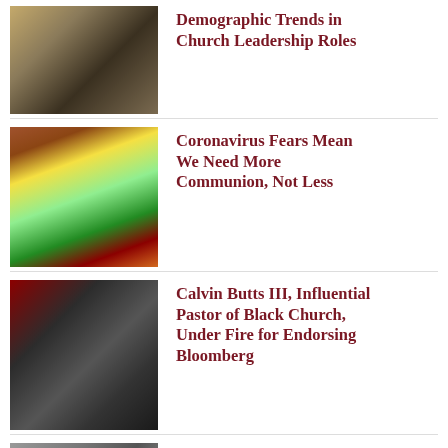[Figure (photo): Person signing a document at a desk]
Demographic Trends in Church Leadership Roles
[Figure (photo): Flowers and a framed photo on the floor, person in background]
Coronavirus Fears Mean We Need More Communion, Not Less
[Figure (photo): Group of men in suits smiling together]
Calvin Butts III, Influential Pastor of Black Church, Under Fire for Endorsing Bloomberg
[Figure (photo): Black and white Nashville scene]
Black and White Nashville